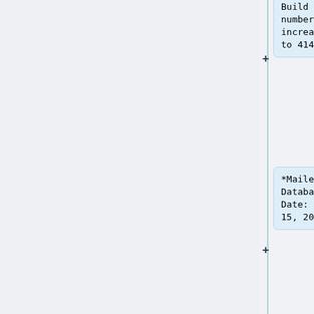Build number increased to 4149.
*Mailers+4 Database Date: April 15, 2022.
*Database Expiration Date: July 31, 2022.
*Address Object Build increased to 17426.
*Phone Object